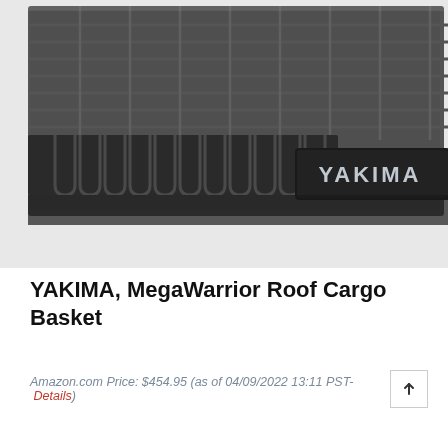[Figure (photo): Close-up photo of a YAKIMA MegaWarrior Roof Cargo Basket, showing the black wire grid basket construction with a black branded end bar reading 'YAKIMA' in silver/white letters, photographed from a low angle.]
YAKIMA, MegaWarrior Roof Cargo Basket
Amazon.com Price: $454.95 (as of 04/09/2022 13:11 PST- Details)